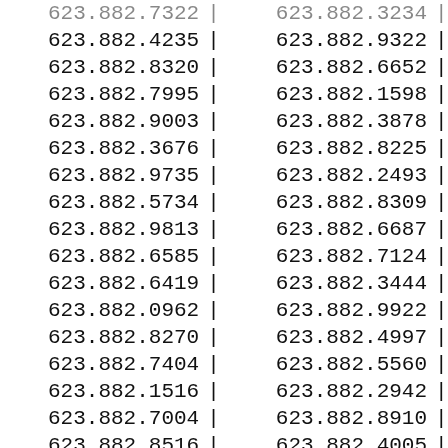| Col1 | Sep | Col2 | Sep2 |
| --- | --- | --- | --- |
| 623.882.7322 | | | 623.882.3234 | | |
| 623.882.4235 | | | 623.882.9322 | | |
| 623.882.8320 | | | 623.882.6652 | | |
| 623.882.7995 | | | 623.882.1598 | | |
| 623.882.9003 | | | 623.882.3878 | | |
| 623.882.3676 | | | 623.882.8225 | | |
| 623.882.9735 | | | 623.882.2493 | | |
| 623.882.5734 | | | 623.882.8309 | | |
| 623.882.9813 | | | 623.882.6687 | | |
| 623.882.6585 | | | 623.882.7124 | | |
| 623.882.6419 | | | 623.882.3444 | | |
| 623.882.0962 | | | 623.882.9922 | | |
| 623.882.8270 | | | 623.882.4997 | | |
| 623.882.7404 | | | 623.882.5560 | | |
| 623.882.1516 | | | 623.882.2942 | | |
| 623.882.7004 | | | 623.882.8910 | | |
| 623.882.8516 | | | 623.882.4005 | | |
| 623.882.9434 | | | 623.882.5579 | | |
| 623.882.4235 | | | 623.882.0040 | | |